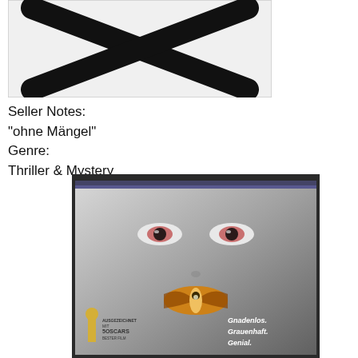[Figure (other): Placeholder image with a large black X on white/light gray background, inside a border box]
Seller Notes:
"ohne Mängel"
Genre:
Thriller & Mystery
[Figure (photo): DVD or VHS cover of Silence of the Lambs (German edition) showing a close-up of a woman's face with a death's-head moth over her mouth, an Oscar statuette on the lower left with text 'AUSGEZEICHNET MIT 5 OSCARS BESTER FILM', and text on lower right 'Gnadenlos. Grauenhaft. Genial.']